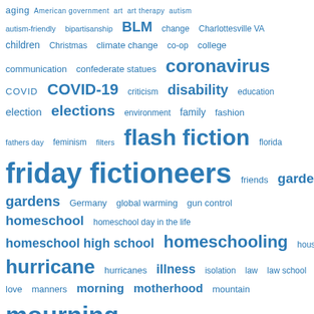[Figure (infographic): A tag cloud / word cloud featuring various topics in blue text at different font sizes. Topics include: aging, American government, art, art therapy, autism, autism-friendly, bipartisanship, BLM, change, Charlottesville VA, children, Christmas, climate change, co-op, college, communication, confederate statues, coronavirus, COVID, COVID-19, criticism, disability, education, election, elections, environment, family, fashion, fathers day, feminism, filters, flash fiction, florida, friday fictioneers, friends, garden, gardens, Germany, global warming, gun control, homeschool, homeschool day in the life, homeschool high school, homeschooling, housework, hurricane, hurricanes, illness, isolation, law, law school, love, manners, morning, motherhood, mountain, mourning, nature, new year, off the grid, opinions, parenting, parents, poem, poetry, politics]